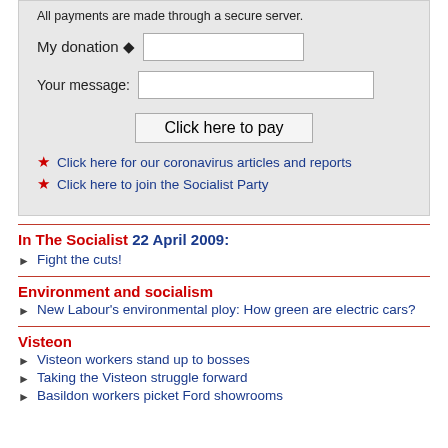All payments are made through a secure server.
My donation ◆ [input field]
Your message: [input field]
Click here to pay
Click here for our coronavirus articles and reports
Click here to join the Socialist Party
In The Socialist 22 April 2009:
Fight the cuts!
Environment and socialism
New Labour's environmental ploy: How green are electric cars?
Visteon
Visteon workers stand up to bosses
Taking the Visteon struggle forward
Basildon workers picket Ford showrooms